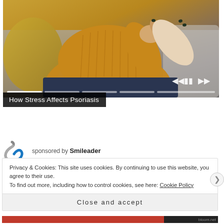[Figure (screenshot): Video player showing a person in a yellow sweater sitting on a couch, scratching their arm. Transport controls (previous, pause, next) visible at bottom right. Progress bar segments visible at bottom.]
How Stress Affects Psoriasis
sponsored by Smileader
Privacy & Cookies: This site uses cookies. By continuing to use this website, you agree to their use.
To find out more, including how to control cookies, see here: Cookie Policy
Close and accept